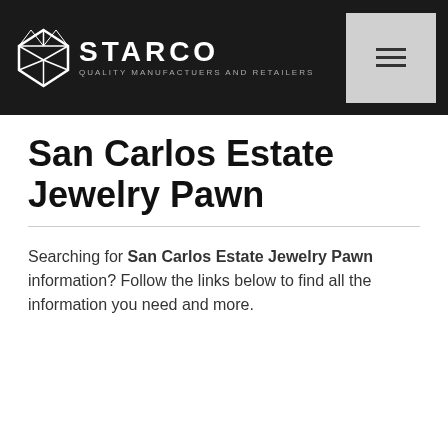STARCO QUALITY MANUFACTUERS AND RETAILERS
San Carlos Estate Jewelry Pawn
Searching for San Carlos Estate Jewelry Pawn information? Follow the links below to find all the information you need and more.